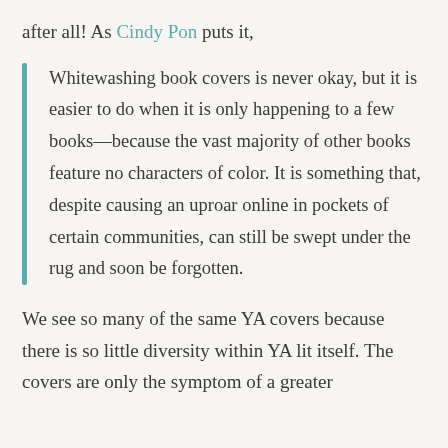after all! As Cindy Pon puts it,
Whitewashing book covers is never okay, but it is easier to do when it is only happening to a few books—because the vast majority of other books feature no characters of color. It is something that, despite causing an uproar online in pockets of certain communities, can still be swept under the rug and soon be forgotten.
We see so many of the same YA covers because there is so little diversity within YA lit itself. The covers are only the symptom of a greater